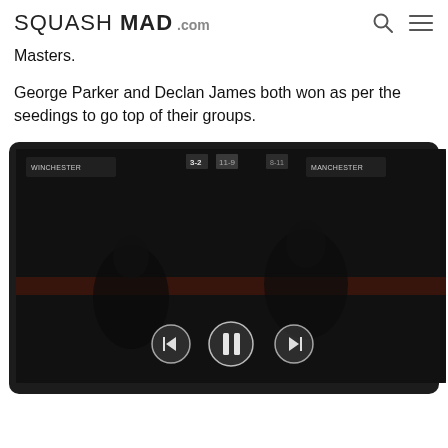SQUASH MAD .com
Masters.
George Parker and Declan James both won as per the seedings to go top of their groups.
[Figure (screenshot): A dark video player showing a squash match scene with two players visible. The video player has a dark background with a scoreboard at the top and playback controls (back, pause, forward) at the bottom center, all inside a rounded dark tablet/device frame.]